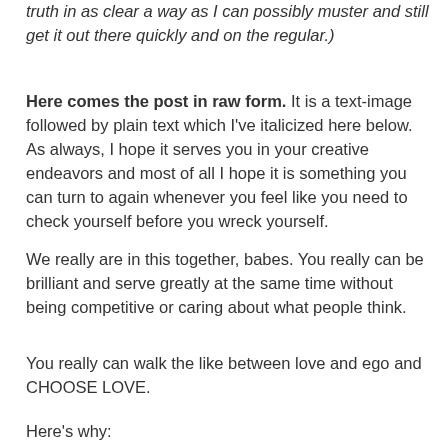truth in as clear a way as I can possibly muster and still get it out there quickly and on the regular.)
Here comes the post in raw form. It is a text-image followed by plain text which I've italicized here below. As always, I hope it serves you in your creative endeavors and most of all I hope it is something you can turn to again whenever you feel like you need to check yourself before you wreck yourself.
We really are in this together, babes. You really can be brilliant and serve greatly at the same time without being competitive or caring about what people think.
You really can walk the like between love and ego and CHOOSE LOVE.
Here's why: